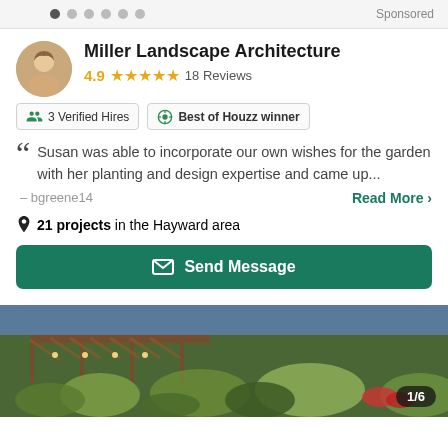Sponsored
Miller Landscape Architecture
4.9 ★★★★★ 18 Reviews
3 Verified Hires  Best of Houzz winner
Susan was able to incorporate our own wishes for the garden with her planting and design expertise and came up...
– bgreene14   Read More >
21 projects in the Hayward area
Send Message
[Figure (photo): Outdoor garden landscape with lush ornamental grasses, shrubs, and flowers with a wooden pergola structure in background. Counter showing 1/6.]